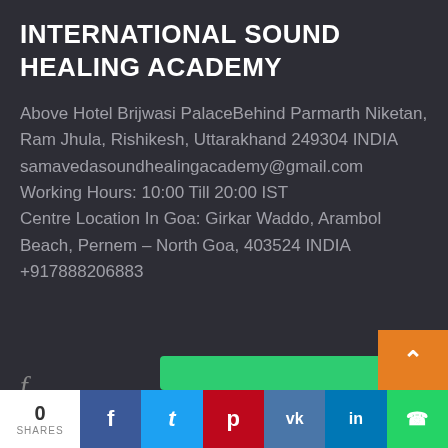INTERNATIONAL SOUND HEALING ACADEMY
Above Hotel Brijwasi PalaceBehind Parmarth Niketan, Ram Jhula, Rishikesh, Uttarakhand 249304 INDIA
samavedasoundhealingacademy@gmail.com
Working Hours: 10:00 Till 20:00 IST
Centre Location In Goa: Girkar Waddo, Arambol Beach, Pernem – North Goa, 403524 INDIA
+917888206883
0 SHARES | f | t | p | vk | in | whatsapp